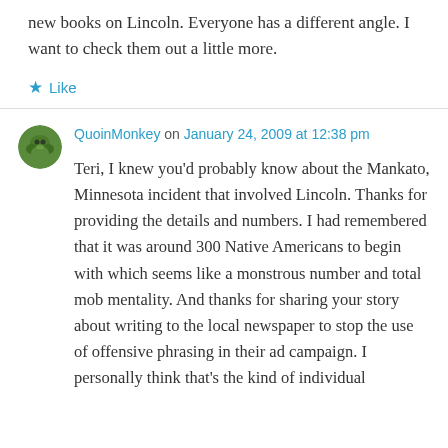new books on Lincoln. Everyone has a different angle. I want to check them out a little more.
★ Like
QuoinMonkey on January 24, 2009 at 12:38 pm
Teri, I knew you'd probably know about the Mankato, Minnesota incident that involved Lincoln. Thanks for providing the details and numbers. I had remembered that it was around 300 Native Americans to begin with which seems like a monstrous number and total mob mentality. And thanks for sharing your story about writing to the local newspaper to stop the use of offensive phrasing in their ad campaign. I personally think that's the kind of individual